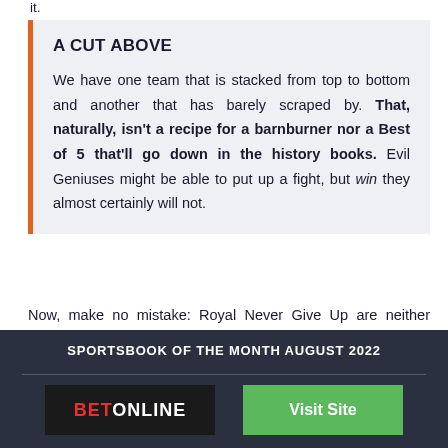it.
A CUT ABOVE
We have one team that is stacked from top to bottom and another that has barely scraped by. That, naturally, isn't a recipe for a barnburner nor a Best of 5 that'll go down in the history books. Evil Geniuses might be able to put up a fight, but win they almost certainly will not.
Now, make no mistake: Royal Never Give Up are neither perfect nor infallible, but even in their "flawed"
[Figure (other): Advertisement banner: SPORTSBOOK OF THE MONTH AUGUST 2022 with BetOnline logo and Visit Site button]